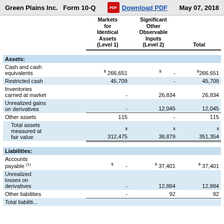Green Plains Inc.   Form 10-Q   Download PDF   May 07, 2018
|  | Markets for Identical Assets (Level 1) | Significant Other Observable Inputs (Level 2) | Total |
| --- | --- | --- | --- |
| Assets: |  |  |  |
| Cash and cash equivalents | $ 266,651 | $  - | $ 266,651 |
| Restricted cash | 45,709 | - | 45,709 |
| Inventories carried at market | - | 26,834 | 26,834 |
| Unrealized gains on derivatives | - | 12,045 | 12,045 |
| Other assets | 115 | - | 115 |
| Total assets measured at fair value | $ 312,475 | $ 38,879 | $ 351,354 |
| Liabilities: |  |  |  |
| Accounts payable (1) | $ - | $ 37,401 | $ 37,401 |
| Unrealized losses on derivatives | - | 12,884 | 12,884 |
| Other liabilities | - | 92 | 92 |
| Total liabilities... |  |  |  |